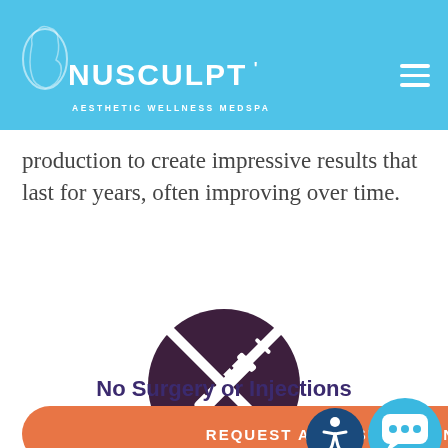NUSCULPT | AESTHETIC WELLNESS MEDSPA
body contouring. Thermage® is a non-invasive treatment that uses radiofrequency energy to produce visible rejuvenation results. This treatment stimulates collagen production to create impressive results that last for years, often improving over time.
[Figure (illustration): Dark purple circle with a crossed-out syringe/injection icon (no-injection symbol) in white]
No Surgery or Injections
REQUEST A CONSULTATION
no cutting, no needles.